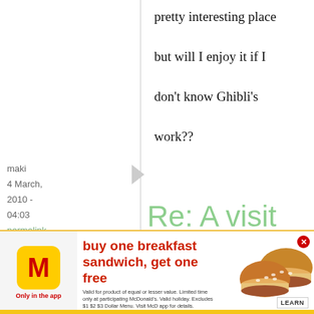pretty interesting place but will I enjoy it if I don't know Ghibli's work??
maki
4 March, 2010 - 04:03
permalink
Re: A visit to the Studio Ghibli Muse...
[Figure (other): McDonald's advertisement banner: buy one breakfast sandwich, get one free. Only in the app. With images of breakfast sandwiches and a LEARN button. Close (x) button top right.]